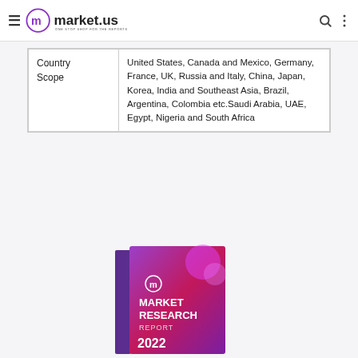market.us — ONE STOP SHOP FOR THE REPORTS
| Country Scope | United States, Canada and Mexico, Germany, France, UK, Russia and Italy, China, Japan, Korea, India and Southeast Asia, Brazil, Argentina, Colombia etc.Saudi Arabia, UAE, Egypt, Nigeria and South Africa |
[Figure (illustration): Market Research Report 2022 book cover with purple/magenta gradient design and market.us logo]